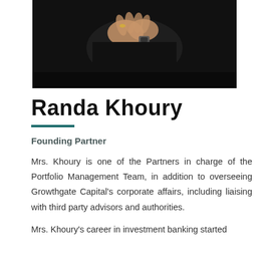[Figure (photo): Professional portrait photo of Randa Khoury wearing black clothing against a dark background, hands clasped near face]
Randa Khoury
Founding Partner
Mrs. Khoury is one of the Partners in charge of the Portfolio Management Team, in addition to overseeing Growthgate Capital's corporate affairs, including liaising with third party advisors and authorities.
Mrs. Khoury's career in investment banking started